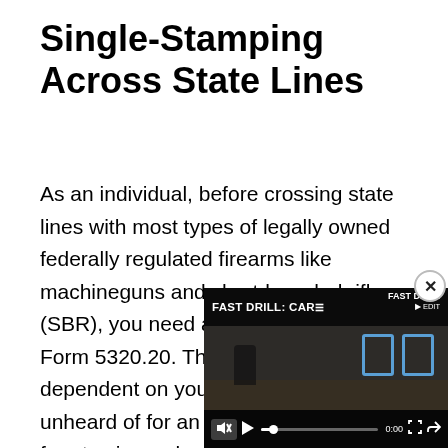Single-Stamping Across State Lines
As an individual, before crossing state lines with most types of legally owned federally regulated firearms like machineguns and short-barreled rifles (SBR), you need an approved BATFE Form 5320.20. Though it's very dependent on your examiner, it's not unheard of for an approved form to take four to six weeks to arrive. We know numerous people who we... goodies with them to a cla... of approval. For reasons t... and don't want to ask abo... about interstate travel app...
[Figure (screenshot): Video player overlay showing a 'FAST DRILL: CAR...' video with mute button, play button, progress bar at 0:00, and fullscreen/share controls. Two blue target shapes visible. A close (x) button in the top-right corner.]